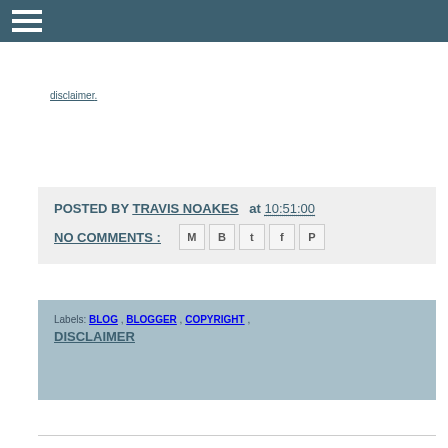≡ (navigation header bar)
disclaimer.
POSTED BY TRAVIS NOAKES at 10:51:00
NO COMMENTS :
Labels: BLOG , BLOGGER , COPYRIGHT , DISCLAIMER
Friday, 26 December 2008
Download album artwork and lyrics